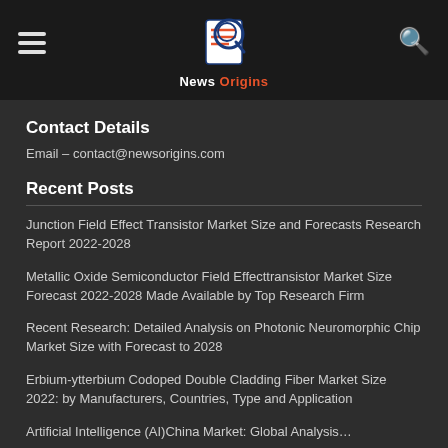News Origins
Contact Details
Email – contact@newsorigins.com
Recent Posts
Junction Field Effect Transistor Market Size and Forecasts Research Report 2022-2028
Metallic Oxide Semiconductor Field Effecttransistor Market Size Forecast 2022-2028 Made Available by Top Research Firm
Recent Research: Detailed Analysis on Photonic Neuromorphic Chip Market Size with Forecast to 2028
Erbium-ytterbium Codoped Double Cladding Fiber Market Size 2022: by Manufacturers, Countries, Type and Application
Artificial Intelligence (AI)China Market: Global Analysis…